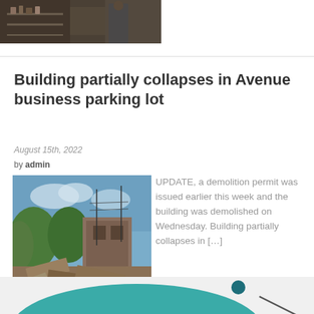[Figure (photo): Partial view of a person standing in what appears to be an indoor setting with shelves in the background]
Building partially collapses in Avenue business parking lot
August 15th, 2022
by admin
[Figure (photo): Photo of a collapsed building with rubble, bricks and debris scattered on the ground, trees visible in background]
UPDATE, a demolition permit was issued earlier this week and the building was demolished on Wednesday. Building partially collapses in […]
[Figure (illustration): Decorative illustration with teal/green shapes and a dark teal circle on a light gray background]